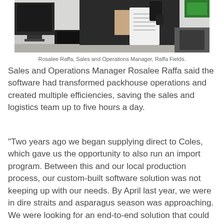[Figure (photo): Person scanning a barcode or document with a handheld scanner near a computer monitor and keyboard in a packhouse setting]
Rosalee Raffa, Sales and Operations Manager, Raffa Fields.
Sales and Operations Manager Rosalee Raffa said the software had transformed packhouse operations and created multiple efficiencies, saving the sales and logistics team up to five hours a day.
“Two years ago we began supplying direct to Coles, which gave us the opportunity to also run an import program. Between this and our local production process, our custom-built software solution was not keeping up with our needs. By April last year, we were in dire straits and asparagus season was approaching. We were looking for an end-to-end solution that could handle a complex and specific product process from harvesting the raw product to